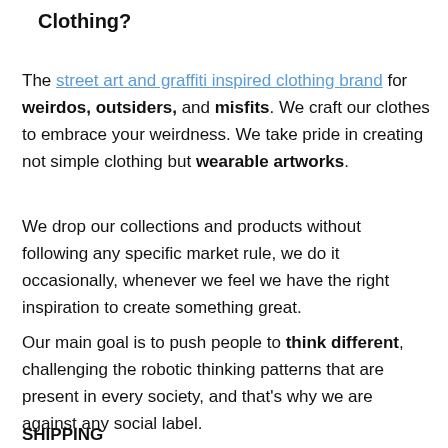Clothing?
The street art and graffiti inspired clothing brand for weirdos, outsiders, and misfits. We craft our clothes to embrace your weirdness. We take pride in creating not simple clothing but wearable artworks.
We drop our collections and products without following any specific market rule, we do it occasionally, whenever we feel we have the right inspiration to create something great.
Our main goal is to push people to think different, challenging the robotic thinking patterns that are present in every society, and that's why we are against any social label.
SHIPPING